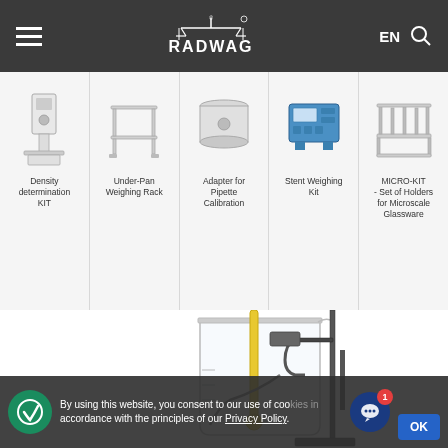RADWAG — EN (navigation bar with hamburger menu and search icon)
[Figure (photo): Density determination KIT product thumbnail]
Density determination KIT
[Figure (photo): Under-Pan Weighing Rack product thumbnail]
Under-Pan Weighing Rack
[Figure (photo): Adapter for Pipette Calibration product thumbnail]
Adapter for Pipette Calibration
[Figure (photo): Stent Weighing Kit product thumbnail]
Stent Weighing Kit
[Figure (photo): MICRO-KIT - Set of Holders for Microscale Glassware product thumbnail]
MICRO-KIT - Set of Holders for Microscale Glassware
[Figure (photo): Laboratory equipment photo showing a beaker with a yellow thermometer and metal stand/support structure]
By using this website, you consent to our use of cookies in accordance with the principles of our Privacy Policy.
OK